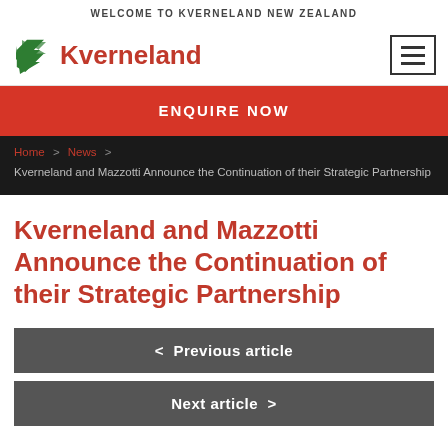WELCOME TO KVERNELAND NEW ZEALAND
[Figure (logo): Kverneland logo with red arrow icon and red Kverneland text]
ENQUIRE NOW
Home > News > Kverneland and Mazzotti Announce the Continuation of their Strategic Partnership
Kverneland and Mazzotti Announce the Continuation of their Strategic Partnership
< Previous article
Next article >